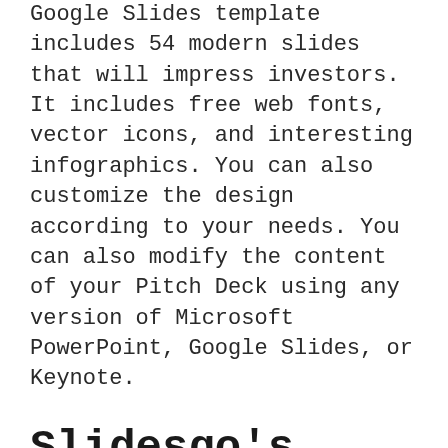Google Slides template includes 54 modern slides that will impress investors. It includes free web fonts, vector icons, and interesting infographics. You can also customize the design according to your needs. You can also modify the content of your Pitch Deck using any version of Microsoft PowerPoint, Google Slides, or Keynote.
Slidesgo's PowerPoint templates are photo-heavy
If you're looking for a great tool for creating PowerPoint presentations that can connect with clients, Slidesgo is the right place to